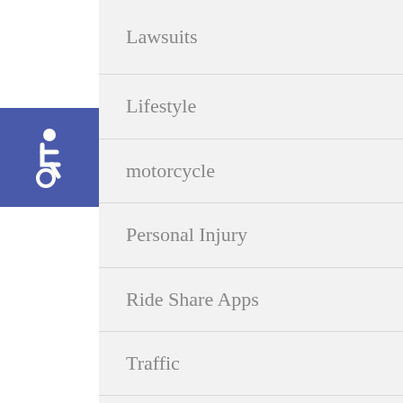[Figure (illustration): Blue square with white wheelchair accessibility icon]
Lawsuits
Lifestyle
motorcycle
Personal Injury
Ride Share Apps
Traffic
Uncategorized